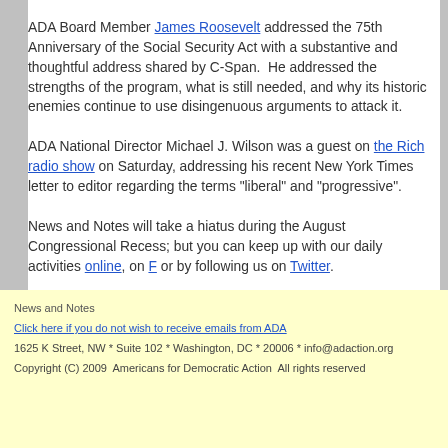ADA Board Member James Roosevelt addressed the 75th Anniversary of the Social Security Act with a substantive and thoughtful address shared by C-Span. He addressed the strengths of the program, what is still needed, and why its historic enemies continue to use disingenuous arguments to attack it.
ADA National Director Michael J. Wilson was a guest on the Rich radio show on Saturday, addressing his recent New York Times letter to editor regarding the terms "liberal" and "progressive".
News and Notes will take a hiatus during the August Congressional Recess; but you can keep up with our daily activities online, on F or by following us on Twitter.
News and Notes
Click here if you do not wish to receive emails from ADA
1625 K Street, NW * Suite 102 * Washington, DC * 20006 * info@adaction.org
Copyright (C) 2009 Americans for Democratic Action All rights reserved